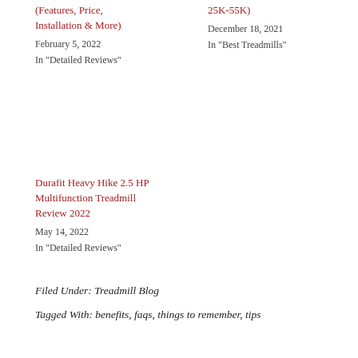(Features, Price, Installation & More)
February 5, 2022
In "Detailed Reviews"
25K-55K)
December 18, 2021
In "Best Treadmills"
Durafit Heavy Hike 2.5 HP Multifunction Treadmill Review 2022
May 14, 2022
In "Detailed Reviews"
Filed Under: Treadmill Blog
Tagged With: benefits, faqs, things to remember, tips